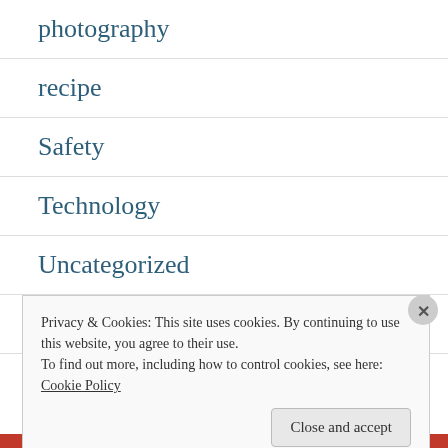photography
recipe
Safety
Technology
Uncategorized
WordPress
Privacy & Cookies: This site uses cookies. By continuing to use this website, you agree to their use.
To find out more, including how to control cookies, see here:
Cookie Policy
Close and accept